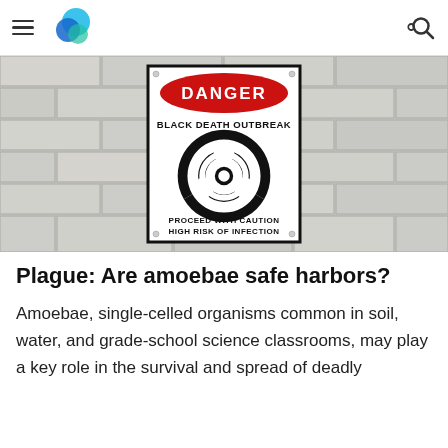Navigation header with hamburger menu, logo, and search icon
[Figure (photo): A danger sign reading 'DANGER / BLACK DEATH OUTBREAK / PROCEED WITH CAUTION / HIGH RISK OF INFECTION' with a biohazard symbol, mounted on a grey brick wall]
Plague: Are amoebae safe harbors?
Amoebae, single-celled organisms common in soil, water, and grade-school science classrooms, may play a key role in the survival and spread of deadly